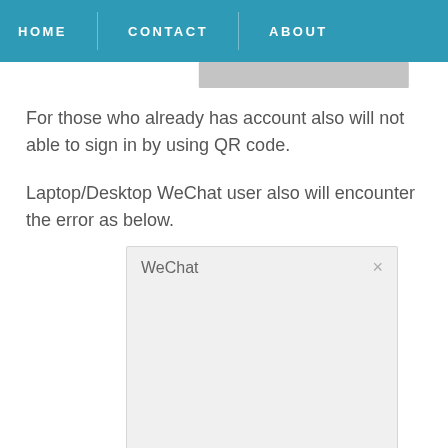HOME   CONTACT   ABOUT
For those who already has account also will not able to sign in by using QR code.
Laptop/Desktop WeChat user also will encounter the error as below.
[Figure (screenshot): A WeChat desktop dialog box with a light gray background, showing the title 'WeChat' on the left and a close (×) button on the right.]